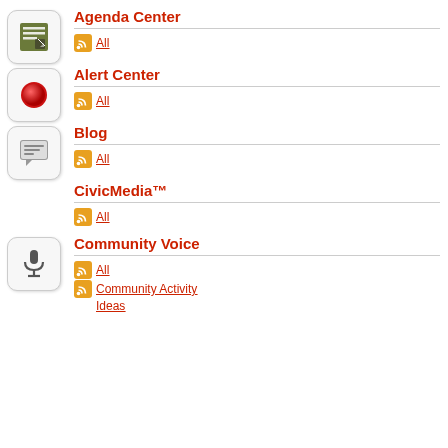Agenda Center
All
Alert Center
All
Blog
All
CivicMedia™
All
Community Voice
All
Community Activity
Ideas